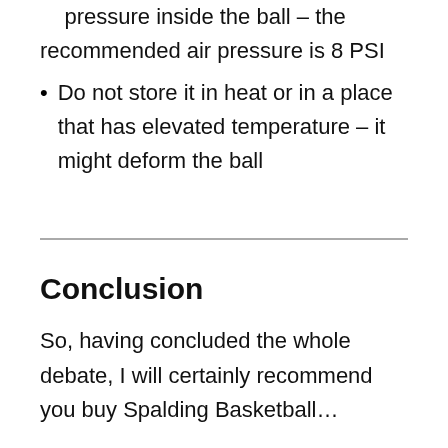pressure inside the ball – the recommended air pressure is 8 PSI
Do not store it in heat or in a place that has elevated temperature – it might deform the ball
Conclusion
So, having concluded the whole debate, I will certainly recommend you buy Spalding Basketball…